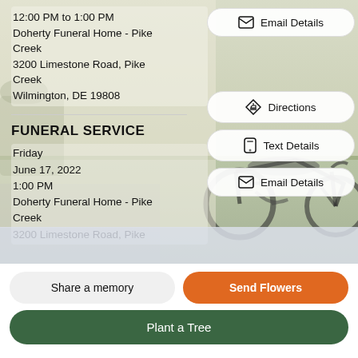12:00 PM to 1:00 PM
Doherty Funeral Home - Pike Creek
3200 Limestone Road, Pike Creek
Wilmington, DE 19808
[Figure (photo): Background photograph of a motorcycle on a lawn/outdoor setting]
FUNERAL SERVICE
Friday
June 17, 2022
1:00 PM
Doherty Funeral Home - Pike Creek
3200 Limestone Road, Pike
Directions
Text Details
Email Details
Email Details
Share a memory
Send Flowers
Plant a Tree